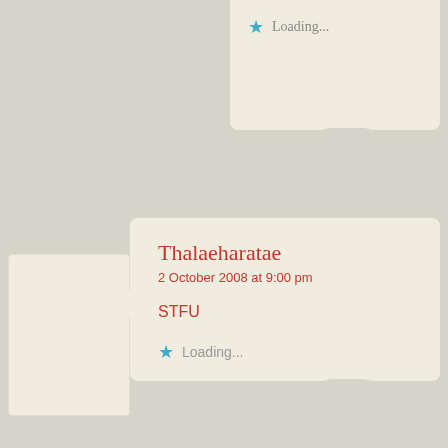Loading...
Thalaeharatae
2 October 2008 at 9:00 pm
STFU
Loading...
kkr
2 October 2008 at 9:32 pm